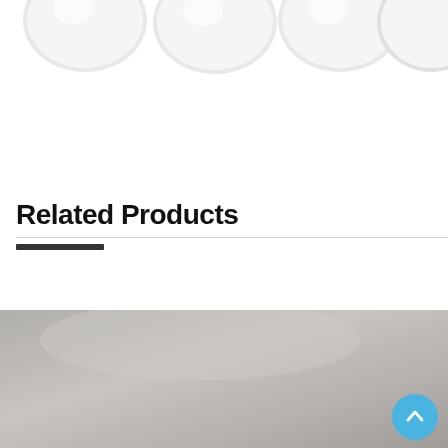[Figure (photo): Row of white round/spherical objects (possibly caps or balls) partially visible at the top of the page against a white background]
Related Products
[Figure (photo): Gray/silver flat surface or product image at bottom of page, with a blue circular scroll-to-top button in the lower right corner]